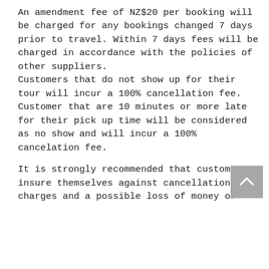An amendment fee of NZ$20 per booking will be charged for any bookings changed 7 days prior to travel. Within 7 days fees will be charged in accordance with the policies of other suppliers. Customers that do not show up for their tour will incur a 100% cancellation fee. Customer that are 10 minutes or more late for their pick up time will be considered as no show and will incur a 100% cancelation fee.
It is strongly recommended that customers insure themselves against cancellation charges and a possible loss of money or